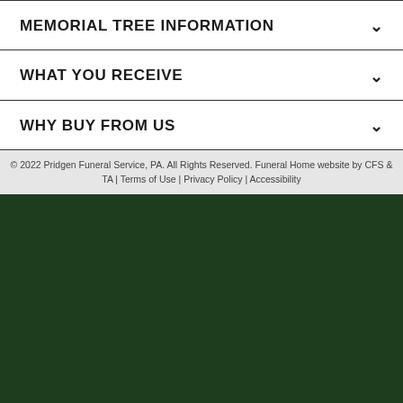MEMORIAL TREE INFORMATION
WHAT YOU RECEIVE
WHY BUY FROM US
© 2022 Pridgen Funeral Service, PA. All Rights Reserved. Funeral Home website by CFS & TA | Terms of Use | Privacy Policy | Accessibility